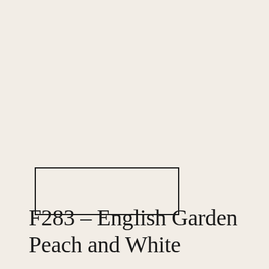[Figure (other): A small outlined rectangle (color swatch outline) with no fill, positioned in the lower-left area of the page]
F283 - English Garden Peach and White